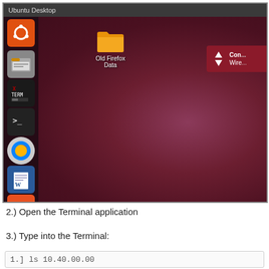[Figure (screenshot): Ubuntu Desktop screenshot showing the Unity launcher sidebar with icons (Ubuntu logo, file manager, XTerm, terminal, Firefox, LibreOffice Writer, Ubuntu Software Center, LibreOffice Calc, LibreOffice Impress/Draw), a folder icon labeled 'Old Firefox Data' on the desktop, and a network connection popup in the top-right corner showing 'Con... Wire...']
2.) Open the Terminal application
3.) Type into the Terminal:
1.]  ls 10.40.00.00